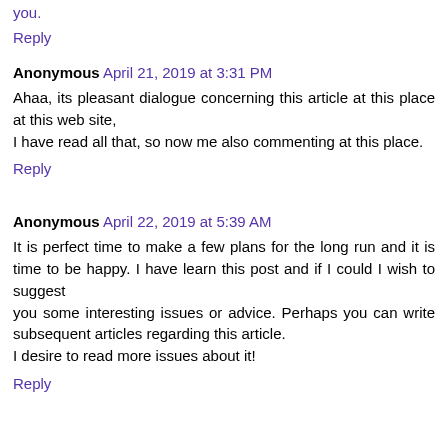you.
Reply
Anonymous April 21, 2019 at 3:31 PM
Ahaa, its pleasant dialogue concerning this article at this place at this web site,
I have read all that, so now me also commenting at this place.
Reply
Anonymous April 22, 2019 at 5:39 AM
It is perfect time to make a few plans for the long run and it is time to be happy. I have learn this post and if I could I wish to suggest
you some interesting issues or advice. Perhaps you can write subsequent articles regarding this article.
I desire to read more issues about it!
Reply